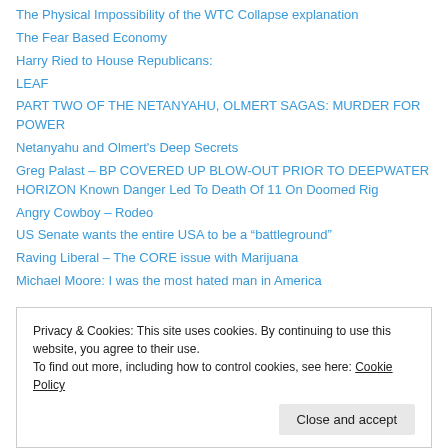The Physical Impossibility of the WTC Collapse explanation
The Fear Based Economy
Harry Ried to House Republicans:
LEAF
PART TWO OF THE NETANYAHU, OLMERT SAGAS: MURDER FOR POWER
Netanyahu and Olmert's Deep Secrets
Greg Palast – BP COVERED UP BLOW-OUT PRIOR TO DEEPWATER HORIZON Known Danger Led To Death Of 11 On Doomed Rig
Angry Cowboy – Rodeo
US Senate wants the entire USA to be a “battleground”
Raving Liberal – The CORE issue with Marijuana
Michael Moore: I was the most hated man in America
Privacy & Cookies: This site uses cookies. By continuing to use this website, you agree to their use. To find out more, including how to control cookies, see here: Cookie Policy